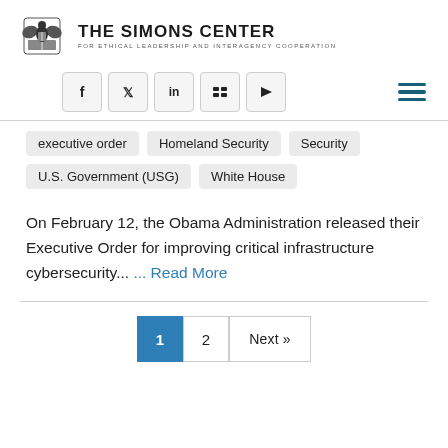[Figure (logo): The Simons Center for Ethical Leadership and Interagency Cooperation logo with eagle crest and text]
[Figure (other): Social media icons: Facebook, Twitter, LinkedIn, Flickr, YouTube; hamburger menu icon]
executive order
Homeland Security
Security
U.S. Government (USG)
White House
On February 12, the Obama Administration released their Executive Order for improving critical infrastructure cybersecurity... ... Read More
[Figure (other): Pagination: page 1 (active, blue), page 2, Next button]